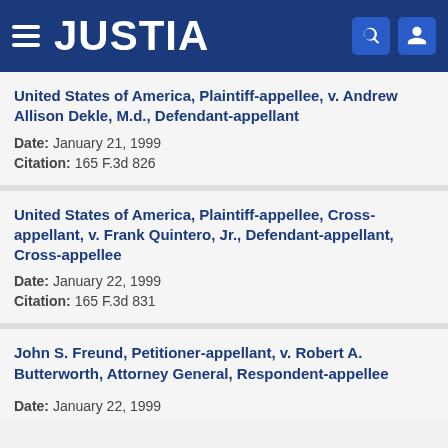JUSTIA
United States of America, Plaintiff-appellee, v. Andrew Allison Dekle, M.d., Defendant-appellant
Date: January 21, 1999
Citation: 165 F.3d 826
United States of America, Plaintiff-appellee, Cross-appellant, v. Frank Quintero, Jr., Defendant-appellant, Cross-appellee
Date: January 22, 1999
Citation: 165 F.3d 831
John S. Freund, Petitioner-appellant, v. Robert A. Butterworth, Attorney General, Respondent-appellee
Date: January 22, 1999